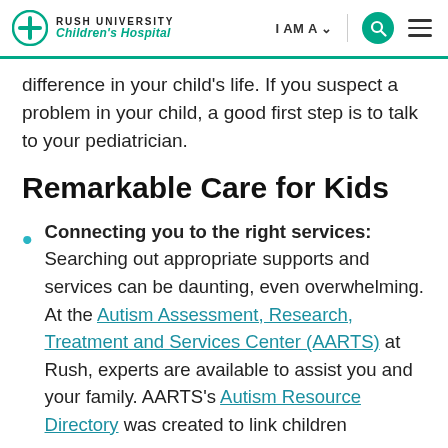Rush University Children's Hospital | I AM A | [search] [menu]
difference in your child's life. If you suspect a problem in your child, a good first step is to talk to your pediatrician.
Remarkable Care for Kids
Connecting you to the right services: Searching out appropriate supports and services can be daunting, even overwhelming. At the Autism Assessment, Research, Treatment and Services Center (AARTS) at Rush, experts are available to assist you and your family. AARTS's Autism Resource Directory was created to link children